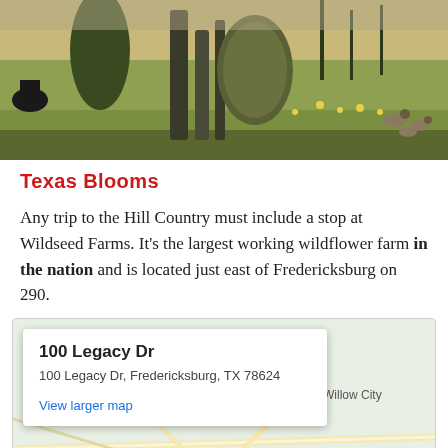[Figure (photo): Photo of a wildflower farm with cactus and desert plants, birds visible on right side]
Texas Blooms
Any trip to the Hill Country must include a stop at Wildseed Farms. It's the largest working wildflower farm in the nation and is located just east of Fredericksburg on 290.
[Figure (map): Google Maps screenshot showing 100 Legacy Dr, Fredericksburg, TX 78624 with a popup info box and map of surrounding area including Willow City label]